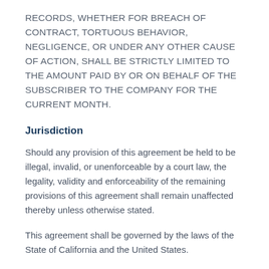RECORDS, WHETHER FOR BREACH OF CONTRACT, TORTUOUS BEHAVIOR, NEGLIGENCE, OR UNDER ANY OTHER CAUSE OF ACTION, SHALL BE STRICTLY LIMITED TO THE AMOUNT PAID BY OR ON BEHALF OF THE SUBSCRIBER TO THE COMPANY FOR THE CURRENT MONTH.
Jurisdiction
Should any provision of this agreement be held to be illegal, invalid, or unenforceable by a court law, the legality, validity and enforceability of the remaining provisions of this agreement shall remain unaffected thereby unless otherwise stated.
This agreement shall be governed by the laws of the State of California and the United States.